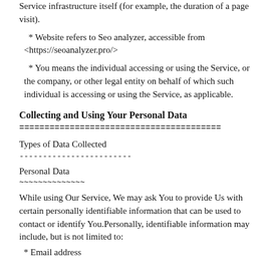Service infrastructure itself (for example, the duration of a page visit).
* Website refers to Seo analyzer, accessible from <https://seoanalyzer.pro/>
* You means the individual accessing or using the Service, or the company, or other legal entity on behalf of which such individual is accessing or using the Service, as applicable.
Collecting and Using Your Personal Data
========================================
Types of Data Collected
------------------------
Personal Data
~~~~~~~~~~~~~~
While using Our Service, We may ask You to provide Us with certain personally identifiable information that can be used to contact or identify You.Personally, identifiable information may include, but is not limited to:
* Email address